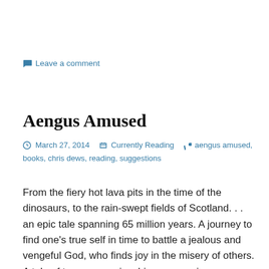💬 Leave a comment
Aengus Amused
March 27, 2014   Currently Reading   aengus amused, books, chris dews, reading, suggestions
From the fiery hot lava pits in the time of the dinosaurs, to the rain-swept fields of Scotland. . . an epic tale spanning 65 million years. A journey to find one's true self in time to battle a jealous and vengeful God, who finds joy in the misery of others. A tale of true companionship, overcoming seemingly insurmountable odds, and a cautionary reminder